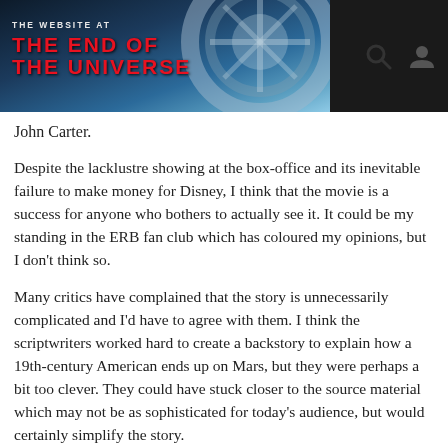THE WEBSITE AT THE END OF THE UNIVERSE
John Carter.
Despite the lacklustre showing at the box-office and its inevitable failure to make money for Disney, I think that the movie is a success for anyone who bothers to actually see it. It could be my standing in the ERB fan club which has coloured my opinions, but I don't think so.
Many critics have complained that the story is unnecessarily complicated and I'd have to agree with them. I think the scriptwriters worked hard to create a backstory to explain how a 19th-century American ends up on Mars, but they were perhaps a bit too clever. They could have stuck closer to the source material which may not be as sophisticated for today's audience, but would certainly simplify the story.
If you ignore some of the more convoluted plot points, the movie delivers on visuals and action that should have made